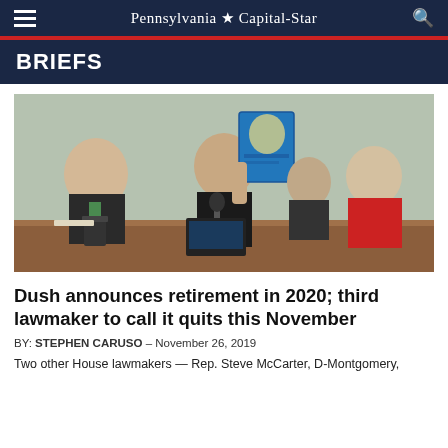Pennsylvania ★ Capital-Star
BRIEFS
[Figure (photo): A man in a suit holds up a large book at a legislative hearing table. Other lawmakers and officials are seated around him, including a man in a green tie on the left and a woman in a red jacket on the right.]
Dush announces retirement in 2020; third lawmaker to call it quits this November
BY: STEPHEN CARUSO – November 26, 2019
Two other House lawmakers — Rep. Steve McCarter, D-Montgomery,